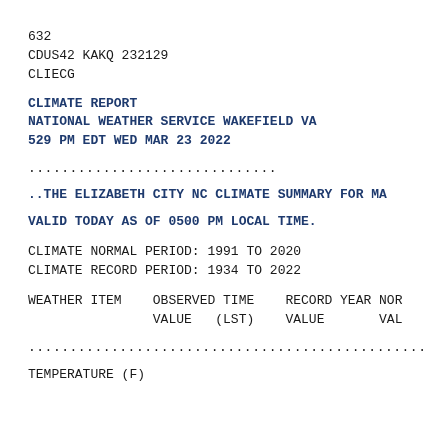632
CDUS42 KAKQ 232129
CLIECG
CLIMATE REPORT
NATIONAL WEATHER SERVICE WAKEFIELD VA
529 PM EDT WED MAR 23 2022
..............................
..THE ELIZABETH CITY NC CLIMATE SUMMARY FOR MA
VALID TODAY AS OF 0500 PM LOCAL TIME.
CLIMATE NORMAL PERIOD: 1991 TO 2020
CLIMATE RECORD PERIOD: 1934 TO 2022
WEATHER ITEM    OBSERVED TIME    RECORD YEAR NOR
                VALUE   (LST)    VALUE       VAL
................................................
TEMPERATURE (F)